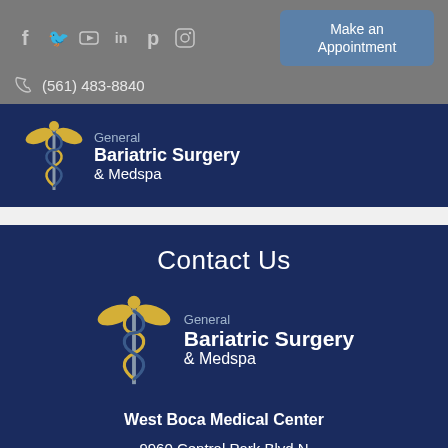[Figure (other): Social media icons: f (Facebook), Twitter bird, YouTube, LinkedIn, Pinterest, Instagram]
[Figure (other): Make an Appointment button (blue/steel color)]
(561) 483-8840
[Figure (logo): General Bariatric Surgery & Medspa logo with caduceus icon - navy background header]
Contact Us
[Figure (logo): General Bariatric Surgery & Medspa logo with caduceus icon - contact section]
West Boca Medical Center
9960 Central Park Blvd N
Suite 235
Boca Raton, FL 33428